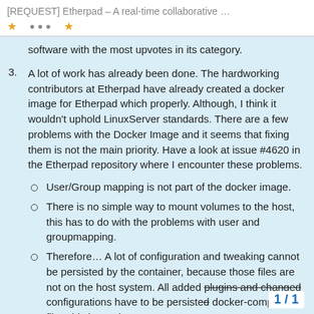[REQUEST] Etherpad – A real-time collaborative …
software with the most upvotes in its category.
A lot of work has already been done. The hardworking contributors at Etherpad have already created a docker image for Etherpad which properly. Although, I think it wouldn't uphold LinuxServer standards. There are a few problems with the Docker Image and it seems that fixing them is not the main priority. Have a look at issue #4620 in the Etherpad repository where I encounter these problems.
User/Group mapping is not part of the docker image.
There is no simple way to mount volumes to the host, this has to do with the problems with user and groupmapping.
Therefore… A lot of configuration and tweaking cannot be persisted by the container, because those files are not on the host system. All added plugins and changed configurations have to be persisted docker-compose file. This is cumb
1 / 1